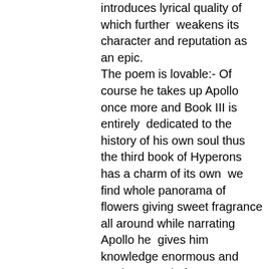introduces lyrical quality of which further weakens its character and reputation as an epic. The poem is lovable:- Of course he takes up Apollo once more and Book III is entirely dedicated to the history of his own soul thus the third book of Hyperons has a charm of its own we find whole panorama of flowers giving sweet fragrance all around while narrating Apollo he gives him knowledge enormous and “makes a god of me” As a matter of fact Keats’s reputation as writer of lyrical poetry especially and odes, makes the critic think that he would be marvelous here in epic as well but they found some basic qualities of epic poetry missing it should not be forgotten that despite his failua as an epic writer this poem has appeal and it is a lovable poem it lacks a few ingredients of epic poetry but does not lack all and allegorical significance the sustained elevation of style goes in its favour the